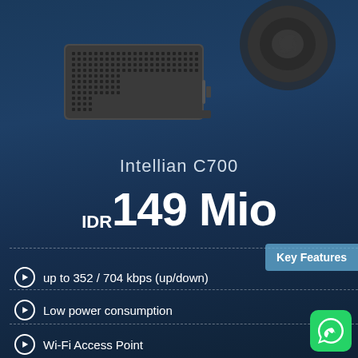[Figure (photo): Product photo of Intellian C700 satellite communication device and antenna/fan unit on dark blue background]
Intellian C700
IDR 149 Mio
Key Features
up to 352 / 704 kbps (up/down)
Low power consumption
Wi-Fi Access Point
[Figure (logo): WhatsApp green logo icon]